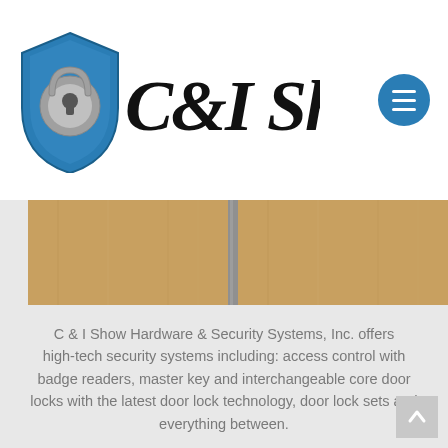[Figure (logo): C & I Show Hardware & Security Systems logo — blue shield with padlock icon and cursive 'CiShow' text, plus circular blue hamburger menu button]
[Figure (photo): Close-up photo of wooden double doors with a vertical metal strip/seam in the center]
C & I Show Hardware & Security Systems, Inc. offers high-tech security systems including: access control with badge readers, master key and interchangeable core door locks with the latest door lock technology, door lock sets and everything between.
LEARN MORE HERE